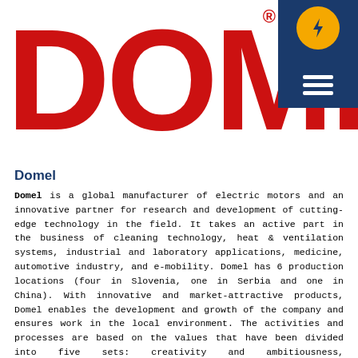[Figure (logo): DOMEL company logo in large bold red letters on a red background, with a dark blue navigation panel in the top right corner containing an orange circular icon with a lightning bolt and a hamburger menu icon. A registered trademark symbol appears to the right of the logo.]
Domel
Domel is a global manufacturer of electric motors and an innovative partner for research and development of cutting-edge technology in the field. It takes an active part in the business of cleaning technology, heat & ventilation systems, industrial and laboratory applications, medicine, automotive industry, and e-mobility. Domel has 6 production locations (four in Slovenia, one in Serbia and one in China). With innovative and market-attractive products, Domel enables the development and growth of the company and ensures work in the local environment. The activities and processes are based on the values that have been divided into five sets: creativity and ambitiousness, responsibility and economy,